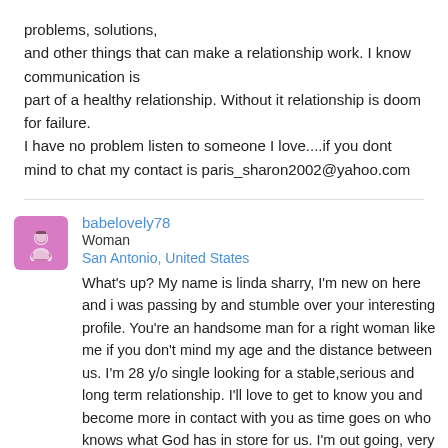problems, solutions, and other things that can make a relationship work. I know communication is part of a healthy relationship. Without it relationship is doom for failure. I have no problem listen to someone I love....if you dont mind to chat my contact is paris_sharon2002@yahoo.com
babelovely78
Woman
San Antonio, United States
What's up? My name is linda sharry, I'm new on here and i was passing by and stumble over your interesting profile. You're an handsome man for a right woman like me if you don't mind my age and the distance between us. I'm 28 y/o single looking for a stable,serious and long term relationship. I'll love to get to know you and become more in contact with you as time goes on who knows what God has in store for us. I'm out going, very easy to get along with and have sense of humor. I'll love to meet the same in my